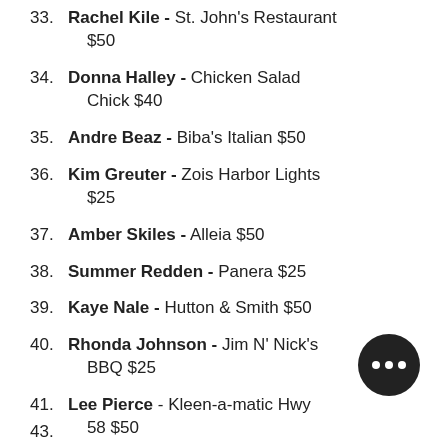33. Rachel Kile - St. John's Restaurant $50
34. Donna Halley - Chicken Salad Chick $40
35. Andre Beaz - Biba's Italian $50
36. Kim Greuter - Zois Harbor Lights $25
37. Amber Skiles - Alleia $50
38. Summer Redden - Panera $25
39. Kaye Nale - Hutton & Smith $50
40. Rhonda Johnson - Jim N' Nick's BBQ $25
41. Lee Pierce - Kleen-a-matic Hwy 58 $50
42. Martha Hunter - Firehouse $25
43. (partial, cut off)